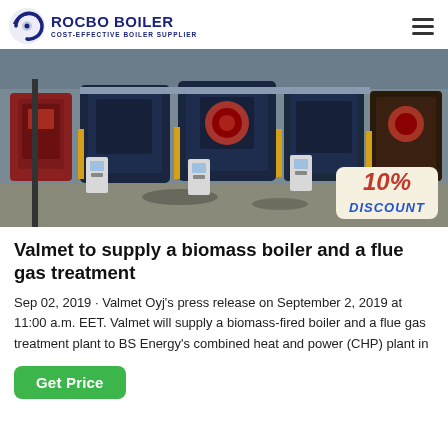ROCBO BOILER — COST-EFFECTIVE BOILER SUPPLIER
[Figure (photo): Industrial boiler room showing multiple large cylindrical biomass/gas-fired boilers in dark blue and red, with control panels, yellow piping, and a concrete floor. A 10% DISCOUNT badge is overlaid in the bottom-right corner.]
Valmet to supply a biomass boiler and a flue gas treatment
Sep 02, 2019 · Valmet Oyj's press release on September 2, 2019 at 11:00 a.m. EET. Valmet will supply a biomass-fired boiler and a flue gas treatment plant to BS Energy's combined heat and power (CHP) plant in
Get Price